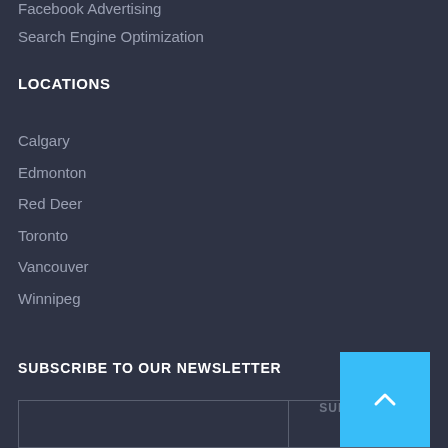Facebook Advertising
Search Engine Optimization
LOCATIONS
Calgary
Edmonton
Red Deer
Toronto
Vancouver
Winnipeg
SUBSCRIBE TO OUR NEWSLETTER